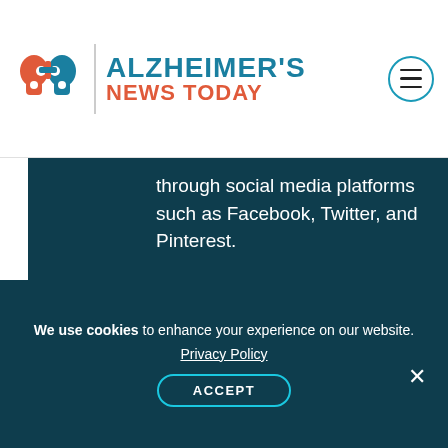[Figure (logo): Alzheimer's News Today logo with two head silhouettes in red and teal, vertical divider, and text 'ALZHEIMER'S NEWS TODAY']
through social media platforms such as Facebook, Twitter, and Pinterest.
Tags
brain imaging, cognitive tests, diagnosing Alzheimer's, diagnostic test, medical history, mini mental state exam, MRI scan
We use cookies to enhance your experience on our website. Privacy Policy ACCEPT